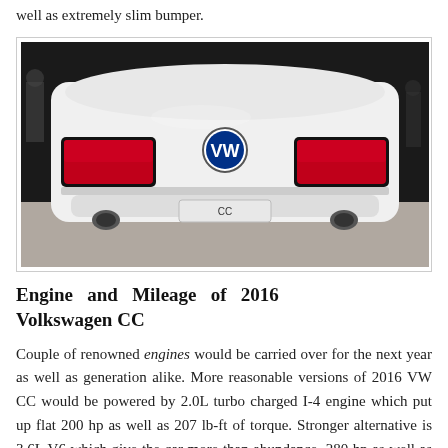well as extremely slim bumper.
[Figure (photo): Rear view of a white 2016 Volkswagen CC on a dark showroom floor, showing red LED taillights, VW badge, and license plate area labeled 'CC', with exhaust tips visible at the bottom.]
Engine and Mileage of 2016 Volkswagen CC
Couple of renowned engines would be carried over for the next year as well as generation alike. More reasonable versions of 2016 VW CC would be powered by 2.0L turbo charged I-4 engine which put up flat 200 hp as well as 207 lb-ft of torque. Stronger alternative is 3.6L V6 which give the car more than abundance, 280 hp as well as 265 lb-ft of torque. One will hardly find its way while navigating